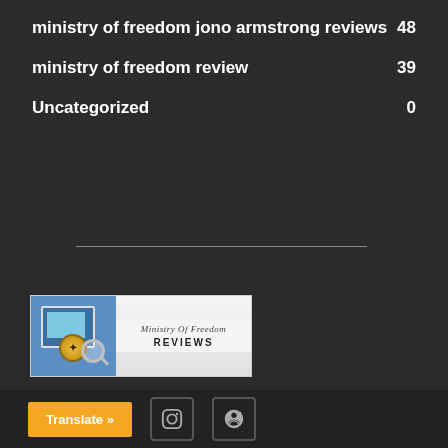ministry of freedom jono armstrong reviews  48
ministry of freedom review  39
Uncategorized  0
[Figure (logo): Ministry Of Freedom Reviews logo with blue background, monitor graphic, magnifier, gold badge, and script text on right side]
Email admin@ministryoffreedomreviews.com
Translate » [Instagram icon] [Pinterest icon]